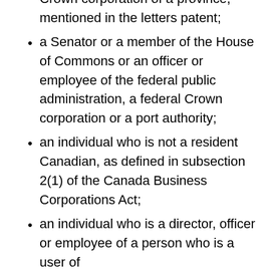Crown corporation of a province, mentioned in the letters patent;
a Senator or a member of the House of Commons or an officer or employee of the federal public administration, a federal Crown corporation or a port authority;
an individual who is not a resident Canadian, as defined in subsection 2(1) of the Canada Business Corporations Act;
an individual who is a director, officer or employee of a person who is a user of